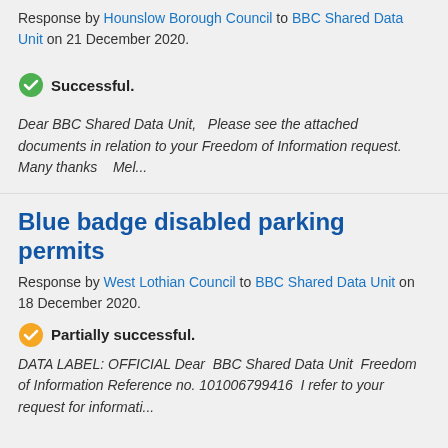Response by Hounslow Borough Council to BBC Shared Data Unit on 21 December 2020.
Successful.
Dear BBC Shared Data Unit,   Please see the attached documents in relation to your Freedom of Information request.  Many thanks    Mel...
Blue badge disabled parking permits
Response by West Lothian Council to BBC Shared Data Unit on 18 December 2020.
Partially successful.
DATA LABEL: OFFICIAL Dear  BBC Shared Data Unit  Freedom of Information Reference no. 101006799416  I refer to your request for informati...